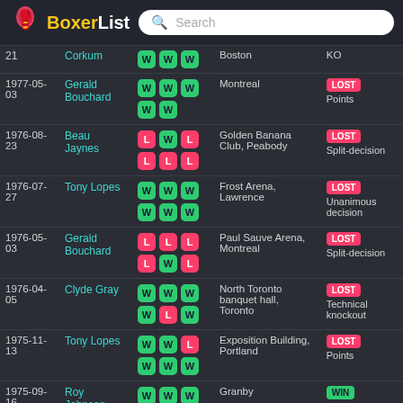BoxerList
| Date | Opponent | Record | Venue | Result |
| --- | --- | --- | --- | --- |
| 21 | Corkum | W W W | Boston | KO |
| 1977-05-03 | Gerald Bouchard | W W W W W | Montreal | LOST Points |
| 1976-08-23 | Beau Jaynes | L W L L L L | Golden Banana Club, Peabody | LOST Split-decision |
| 1976-07-27 | Tony Lopes | W W W W W W | Frost Arena, Lawrence | LOST Unanimous decision |
| 1976-05-03 | Gerald Bouchard | L L L L W L | Paul Sauve Arena, Montreal | LOST Split-decision |
| 1976-04-05 | Clyde Gray | W W W W L W | North Toronto banquet hall, Toronto | LOST Technical knockout |
| 1975-11-13 | Tony Lopes | W W L W W W | Exposition Building, Portland | LOST Points |
| 1975-09-16 | Roy Johnson | W W W W | Granby | WIN KO |